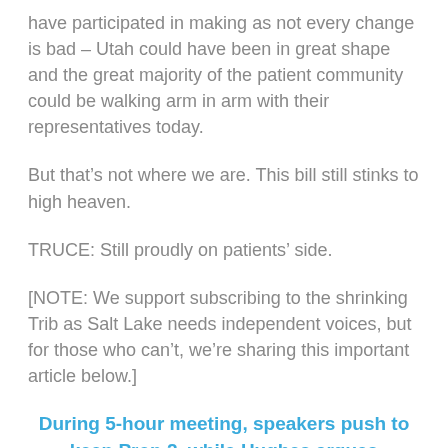have participated in making as not every change is bad – Utah could have been in great shape and the great majority of the patient community could be walking arm in arm with their representatives today.
But that's not where we are. This bill still stinks to high heaven.
TRUCE: Still proudly on patients' side.
[NOTE: We support subscribing to the shrinking Trib as Salt Lake needs independent voices, but for those who can't, we're sharing this important article below.]
During 5-hour meeting, speakers push to keep Prop 2, while Hughes argues cannabis bill won't nullify initiative vote